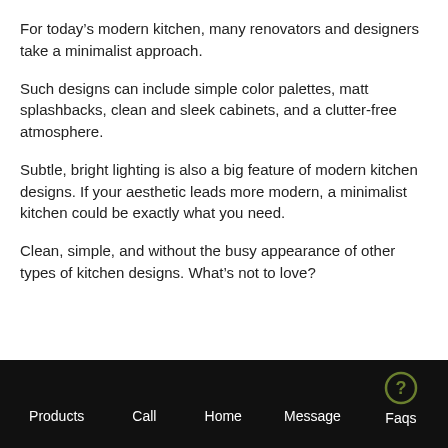For today’s modern kitchen, many renovators and designers take a minimalist approach.
Such designs can include simple color palettes, matt splashbacks, clean and sleek cabinets, and a clutter-free atmosphere.
Subtle, bright lighting is also a big feature of modern kitchen designs. If your aesthetic leads more modern, a minimalist kitchen could be exactly what you need.
Clean, simple, and without the busy appearance of other types of kitchen designs. What’s not to love?
Products  Call  Home  Message  Faqs